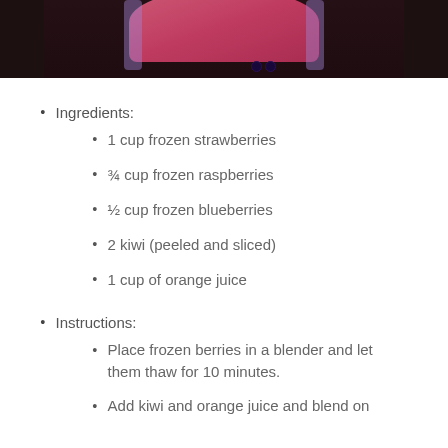[Figure (photo): Top portion of a photo showing a pink/red berry smoothie in a glass container with blueberries on a dark background]
Ingredients:
1 cup frozen strawberries
¾ cup frozen raspberries
½ cup frozen blueberries
2 kiwi (peeled and sliced)
1 cup of orange juice
Instructions:
Place frozen berries in a blender and let them thaw for 10 minutes.
Add kiwi and orange juice and blend on